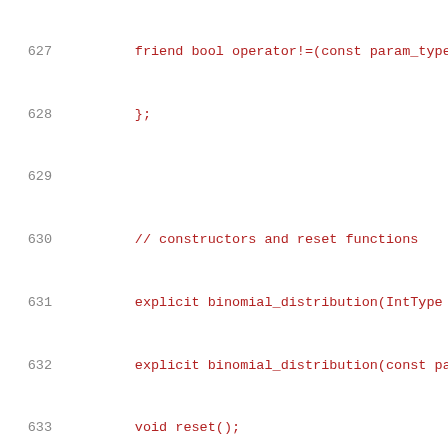[Figure (screenshot): Source code listing showing C++ class definition lines 627-648, displaying constructors, generating functions, and property functions of binomial_distribution class. Line numbers in gray on left, code in dark red monospace font on white background.]